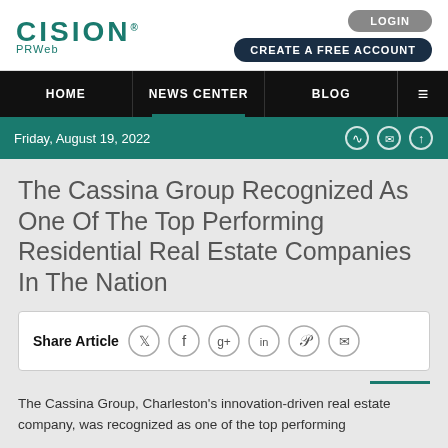[Figure (logo): Cision PRWeb logo in teal color]
LOGIN  CREATE A FREE ACCOUNT
HOME  NEWS CENTER  BLOG
Friday, August 19, 2022
The Cassina Group Recognized As One Of The Top Performing Residential Real Estate Companies In The Nation
Share Article
The Cassina Group, Charleston's innovation-driven real estate company, was recognized as one of the top performing